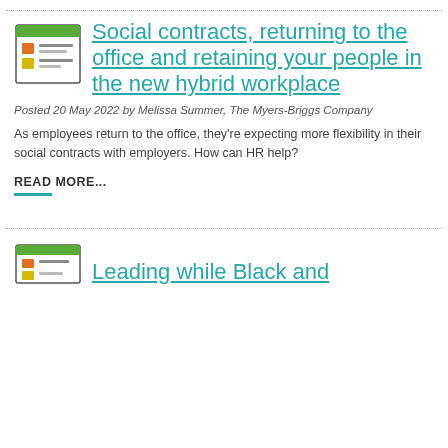[Figure (illustration): Thumbnail icon showing a presentation/document graphic with colored bars and text lines]
Social contracts, returning to the office and retaining your people in the new hybrid workplace
Posted 20 May 2022 by Melissa Summer, The Myers-Briggs Company
As employees return to the office, they're expecting more flexibility in their social contracts with employers. How can HR help?
READ MORE...
[Figure (illustration): Thumbnail icon showing a presentation/document graphic with colored bars]
Leading while Black and